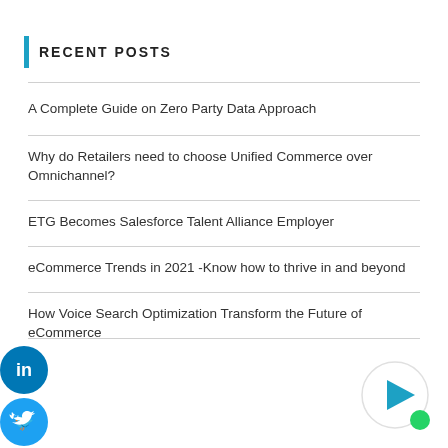RECENT POSTS
A Complete Guide on Zero Party Data Approach
Why do Retailers need to choose Unified Commerce over Omnichannel?
ETG Becomes Salesforce Talent Alliance Employer
eCommerce Trends in 2021 -Know how to thrive in and beyond
How Voice Search Optimization Transform the Future of eCommerce
[Figure (illustration): Social media share icons: LinkedIn (blue circle with 'in'), Twitter (blue circle with bird), Facebook (blue circle with 'f'), WhatsApp (green circle with phone icon)]
[Figure (illustration): Play button circle with green dot indicator in bottom right corner]